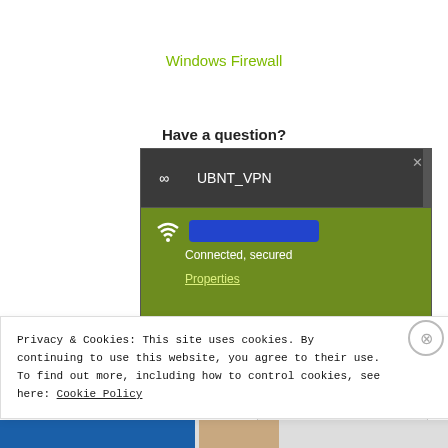Windows Firewall
Have a question?
[Figure (screenshot): Windows VPN connection dialog showing UBNT_VPN connected and secured, with a redacted network name, Properties link, on a dark/green background.]
Privacy & Cookies: This site uses cookies. By continuing to use this website, you agree to their use. To find out more, including how to control cookies, see here: Cookie Policy
Close and accept